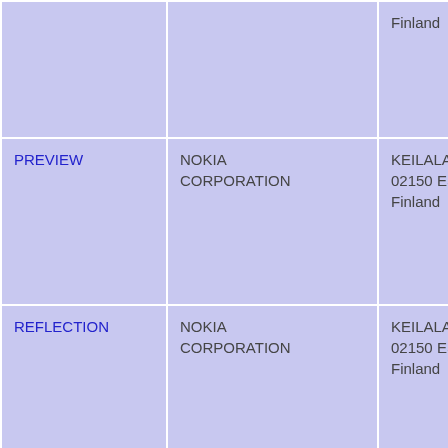| Product | Manufacturer | Address | Description |
| --- | --- | --- | --- |
|  |  | Finland | and repl... parts |
| PREVIEW | NOKIA CORPORATION | KEILALAHDENTIE 4
02150 ESPOO
Finland | Mob... tele... acce... and repl... parts |
| REFLECTION | NOKIA CORPORATION | KEILALAHDENTIE 4
02150 ESPOO
Finland | Mob... tele... acce... and repl... parts |
| RELATE | NOKIA CORPORATION | KEILALAHDENTIE 4
02150 ESPOO
Finland | Mob... tele... acce... and repl... parts |